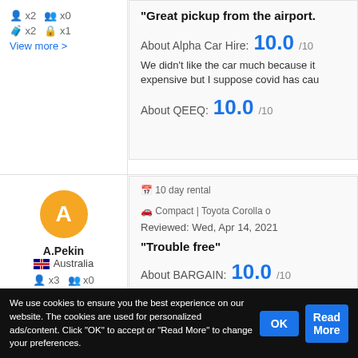x2  x0
x2  x1
View more >
"Great pickup from the airport.
About Alpha Car Hire: 10.0 /10
We didn't like the car much because it expensive but I suppose covid has cau
About QEEQ: 10.0 /10
[Figure (illustration): Yellow circle avatar with letter A]
A.Pekin
Australia
x3  x0
x0  x3
View more >
10 day rental   Compact | Toyota Corolla o
Reviewed: Wed, Apr 14, 2021
"Trouble free"
About BARGAIN: 10.0 /10
Bargain staff were friendly and efficien
We use cookies to ensure you the best experience on our website. The cookies are used for personalized ads/content. Click "OK" to accept or "Read More" to change your preferences.